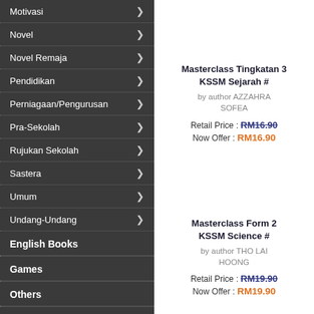Motivasi
Novel
Novel Remaja
Pendidikan
Perniagaan/Pengurusan
Pra-Sekolah
Rujukan Sekolah
Sastera
Umum
Undang-Undang
English Books
Games
Others
Stationery
Masterclass Tingkatan 3 KSSM Sejarah #
by author AZZAHRA SOFEA
Retail Price : RM16.90
Now Offer : RM16.90
Masterclass Form 2 KSSM Science #
by author THO LAI HOONG
Retail Price : RM19.90
Now Offer : RM19.90